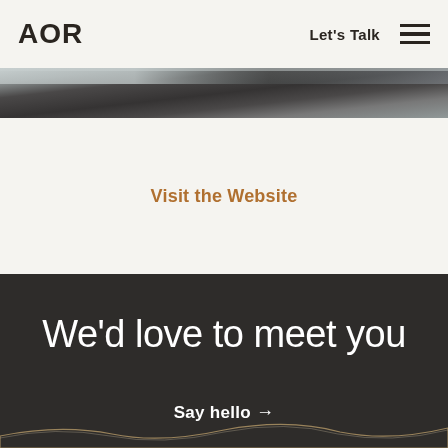AOR   Let's Talk  ☰
[Figure (photo): Blurred dark photograph used as a decorative image band near the top of the page]
Visit the Website
We'd love to meet you
Say hello →